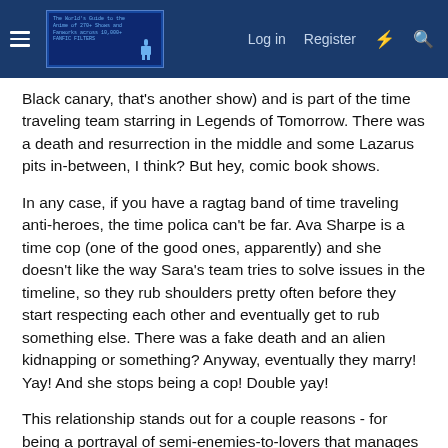Log in  Register  [navigation bar with logo]
Black canary, that's another show) and is part of the time traveling team starring in Legends of Tomorrow. There was a death and resurrection in the middle and some Lazarus pits in-between, I think? But hey, comic book shows.
In any case, if you have a ragtag band of time traveling anti-heroes, the time polica can't be far. Ava Sharpe is a time cop (one of the good ones, apparently) and she doesn't like the way Sara's team tries to solve issues in the timeline, so they rub shoulders pretty often before they start respecting each other and eventually get to rub something else. There was a fake death and an alien kidnapping or something? Anyway, eventually they marry! Yay! And she stops being a cop! Double yay!
This relationship stands out for a couple reasons - for being a portrayal of semi-enemies-to-lovers that manages to go all the way and because it helps normalize LGBTQ relationships in prime time. The fandom, as you can see in that AO3 rating, can't be enough of it...